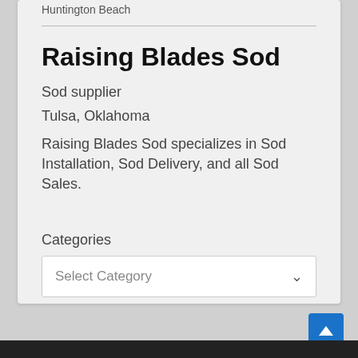Huntington Beach
Raising Blades Sod
Sod supplier
Tulsa, Oklahoma
Raising Blades Sod specializes in Sod Installation, Sod Delivery, and all Sod Sales.
Categories
Select Category